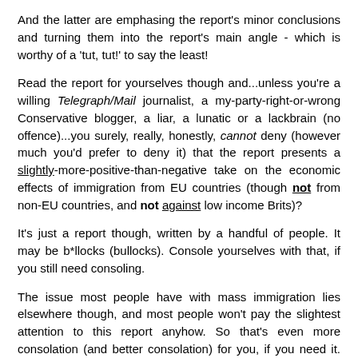And the latter are emphasing the report's minor conclusions and turning them into the report's main angle - which is worthy of a 'tut, tut!' to say the least!
Read the report for yourselves though and...unless you're a willing Telegraph/Mail journalist, a my-party-right-or-wrong Conservative blogger, a liar, a lunatic or a lackbrain (no offence)...you surely, really, honestly, cannot deny (however much you'd prefer to deny it) that the report presents a slightly-more-positive-than-negative take on the economic effects of immigration from EU countries (though not from non-EU countries, and not against low income Brits)?
It's just a report though, written by a handful of people. It may be b*llocks (bullocks). Console yourselves with that, if you still need consoling.
The issue most people have with mass immigration lies elsewhere though, and most people won't pay the slightest attention to this report anyhow. So that's even more consolation (and better consolation) for you, if you need it. Ho...